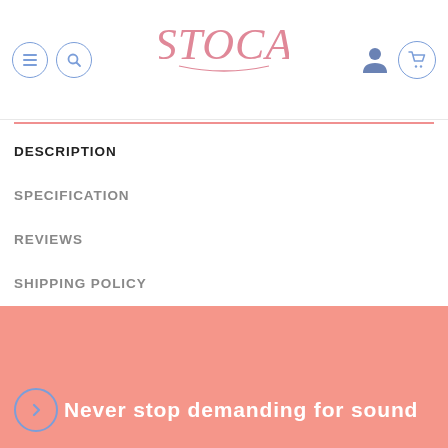[Figure (logo): STOCA brand logo in pink cursive lettering]
DESCRIPTION
SPECIFICATION
REVIEWS
SHIPPING POLICY
[Figure (illustration): Pink/salmon banner with the tagline 'Never stop demanding for sound' in white bold text with a blue circle icon on the left]